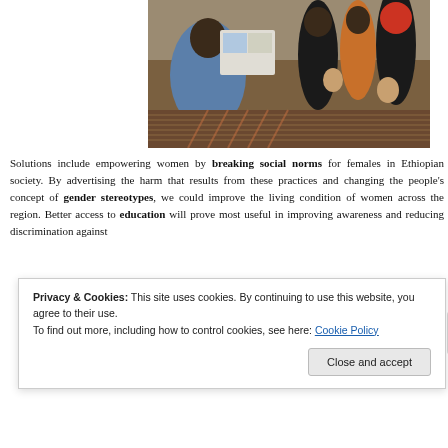[Figure (photo): A woman in a blue uniform reads from a booklet or pamphlet to a group of women with babies and young children sitting on the ground outdoors.]
Solutions include empowering women by breaking social norms for females in Ethiopian society. By advertising the harm that results from these practices and changing the people's concept of gender stereotypes, we could improve the living condition of women across the region. Better access to education will prove most useful in improving awareness and reducing discrimination against [text continues below cookie banner]
Privacy & Cookies: This site uses cookies. By continuing to use this website, you agree to their use.
To find out more, including how to control cookies, see here: Cookie Policy
[Close and accept]